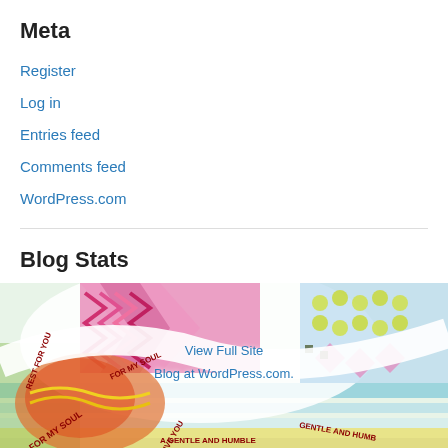Meta
Register
Log in
Entries feed
Comments feed
WordPress.com
Blog Stats
18,566 hits
[Figure (illustration): Colorful decorative illustration with swirling patterns, text spiraling around curves reading fragments like 'FOR MY SOUL WILL GIVE YOU A GENTLE AND HUMBLE REST FOR YOU' with vibrant colors including pink, yellow, green, blue and orange patterns]